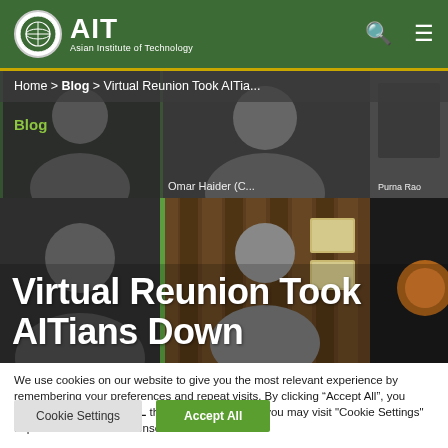AIT Asian Institute of Technology
Home > Blog > Virtual Reunion Took AITia...
[Figure (screenshot): Video conference grid showing multiple participants including Omar Haider (C...) and Purna Rao, with Blog label overlay and title 'Virtual Reunion Took AITians Down']
Virtual Reunion Took AITians Down
We use cookies on our website to give you the most relevant experience by remembering your preferences and repeat visits. By clicking “Accept All”, you consent to the use of ALL the cookies. However, you may visit "Cookie Settings" to provide a controlled consent.